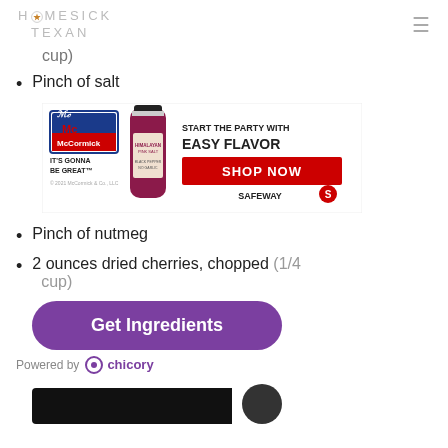HOMESICK TEXAN
cup)
Pinch of salt
[Figure (illustration): McCormick spice advertisement banner: McCormick logo with 'IT'S GONNA BE GREAT' tagline, a spice bottle, and text 'START THE PARTY WITH EASY FLAVOR' with a red SHOP NOW button and Safeway logo]
Pinch of nutmeg
2 ounces dried cherries, chopped (1/4 cup)
[Figure (illustration): Purple 'Get Ingredients' button]
Powered by chicory
[Figure (photo): Bottom of page partial image with dark background]